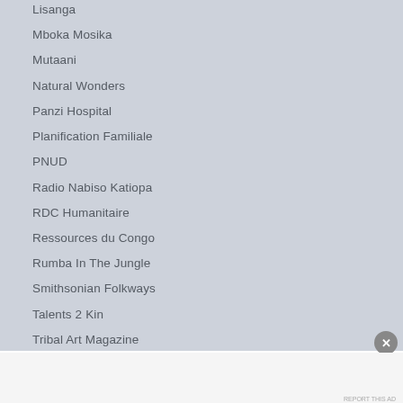Lisanga
Mboka Mosika
Mutaani
Natural Wonders
Panzi Hospital
Planification Familiale
PNUD
Radio Nabiso Katiopa
RDC Humanitaire
Ressources du Congo
Rumba In The Jungle
Smithsonian Folkways
Talents 2 Kin
Tribal Art Magazine
UNESCO World Heritage
Advertisements
[Figure (screenshot): WordPress.com advertisement banner: 'Simplified pricing for everything you need.' with WordPress.com logo on gradient purple-pink-blue background]